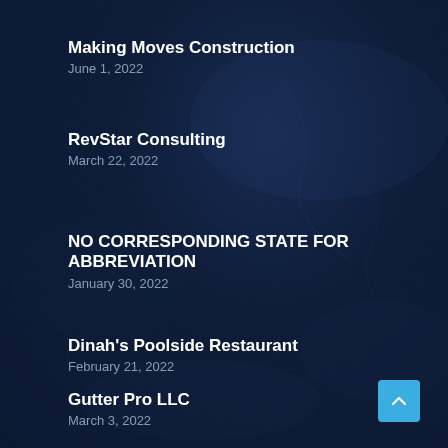Making Moves Construction
June 1, 2022
RevStar Consulting
March 22, 2022
NO CORRESPONDING STATE FOR ABBREVIATION
January 30, 2022
Dinah's Poolside Restaurant
February 21, 2022
Gutter Pro LLC
March 3, 2022